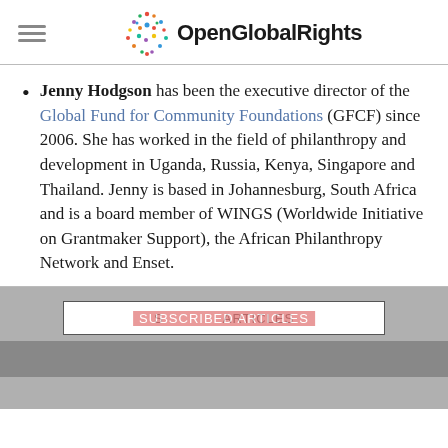OpenGlobalRights
Jenny Hodgson has been the executive director of the Global Fund for Community Foundations (GFCF) since 2006. She has worked in the field of philanthropy and development in Uganda, Russia, Kenya, Singapore and Thailand. Jenny is based in Johannesburg, South Africa and is a board member of WINGS (Worldwide Initiative on Grantmaker Support), the African Philanthropy Network and Enset.
SUBSCRIBED ARTICLES